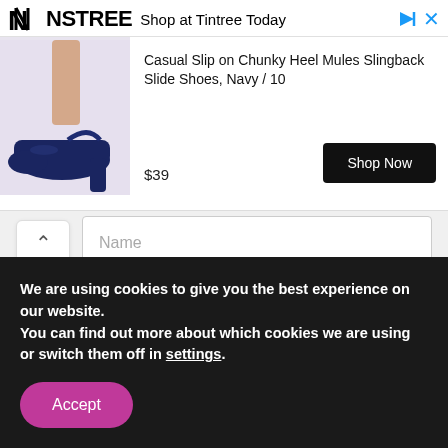[Figure (screenshot): Ninstree advertisement banner showing a shoe product. Top bar has Ninstree logo, 'Shop at Tintree Today' text, play and close icons. Product row shows a navy chunky heel mule shoe image, product title 'Casual Slip on Chunky Heel Mules Slingback Slide Shoes, Navy / 10', price '$39', and a 'Shop Now' black button.]
Name
Email *
Save my name, email, and website in this browser for the next time I comment.
[Figure (screenshot): Partial reCAPTCHA widget showing the reCAPTCHA logo/bird icon in blue on the right side of a white rounded rectangle.]
We are using cookies to give you the best experience on our website.
You can find out more about which cookies we are using or switch them off in settings.
Accept